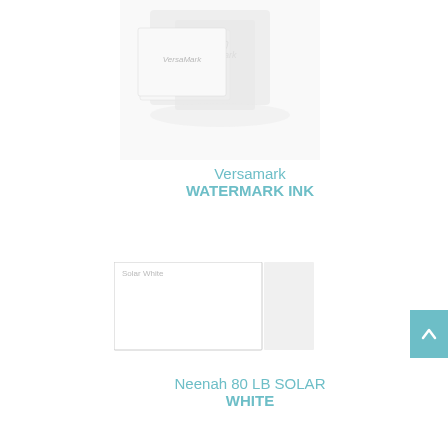[Figure (photo): Product image of Versamark Watermark Ink pad, showing packaging with VersaMark logo on a white/light grey background]
Versamark
WATERMARK INK
[Figure (photo): Paper swatch labeled 'Solar White' showing a white card/paper sample with a light grey swatch to the right]
Neenah 80 LB SOLAR WHITE